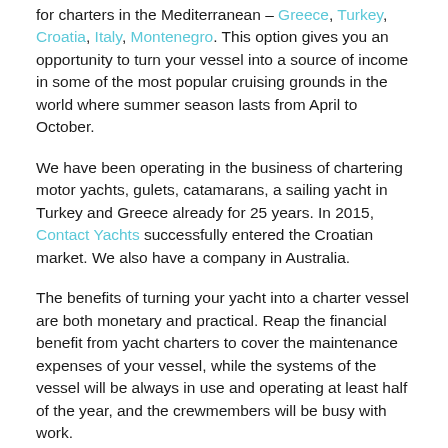for charters in the Mediterranean – Greece, Turkey, Croatia, Italy, Montenegro. This option gives you an opportunity to turn your vessel into a source of income in some of the most popular cruising grounds in the world where summer season lasts from April to October.
We have been operating in the business of chartering motor yachts, gulets, catamarans, a sailing yacht in Turkey and Greece already for 25 years. In 2015, Contact Yachts successfully entered the Croatian market. We also have a company in Australia.
The benefits of turning your yacht into a charter vessel are both monetary and practical. Reap the financial benefit from yacht charters to cover the maintenance expenses of your vessel, while the systems of the vessel will be always in use and operating at least half of the year, and the crewmembers will be busy with work.
Our company endeavors to see the clients content with the results of charter management we perform and receive superior service from our team. Contact Yachts is a proud member of the Charter Yacht Brokers Association and the Mediterranean Yacht Brokers Association. Consequent...